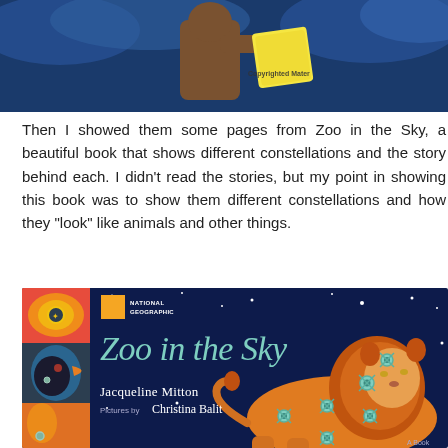[Figure (illustration): Illustration of a figure in brown robes writing on a yellow scroll/paper, against a dark blue night sky background with clouds. Text overlay reads 'Copyrighted Material'.]
Then I showed them some pages from Zoo in the Sky, a beautiful book that shows different constellations and the story behind each. I didn't read the stories, but my point in showing this book was to show them different constellations and how they "look" like animals and other things.
[Figure (photo): Book cover of 'Zoo in the Sky' published by National Geographic. Author: Jacqueline Mitton. Pictures by Christina Balit. Shows a colorful illustrated lion with glowing star markers on a dark blue night sky background, with colorful zodiac animals on the left side. Text 'A Book' in bottom right corner.]